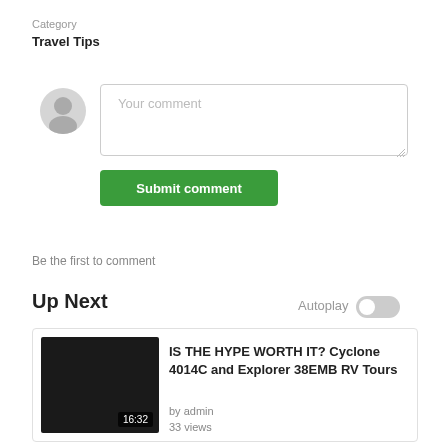Category
Travel Tips
[Figure (illustration): Gray circular avatar icon with silhouette of a person]
[Figure (screenshot): Comment text area input box with placeholder 'Your comment']
[Figure (illustration): Green 'Submit comment' button]
Be the first to comment
Up Next
Autoplay
[Figure (screenshot): Toggle switch in off/gray position for Autoplay]
[Figure (screenshot): Video thumbnail card showing a dark thumbnail with 16:32 duration badge, title 'IS THE HYPE WORTH IT? Cyclone 4014C and Explorer 38EMB RV Tours', by admin, 33 views]